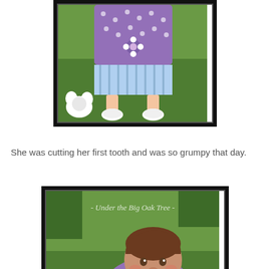[Figure (photo): Partial cropped photo showing bottom of a baby/toddler in a purple polka-dot dress with white shoes standing on grass, with a white stuffed animal on the ground.]
She was cutting her first tooth and was so grumpy that day.
[Figure (photo): Photo of a baby girl in a purple polka-dot dress sitting on grass, holding and chewing on an orange Easter egg, with a yellow Easter egg and a white stuffed animal beside her. Watermark reads: - Under the Big Oak Tree -]